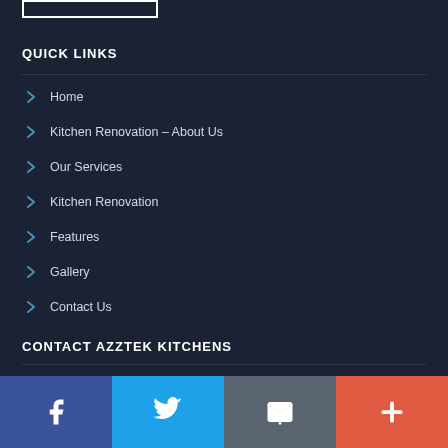[Figure (logo): White rectangle outline representing logo placeholder]
QUICK LINKS
Home
Kitchen Renovation – About Us
Our Services
Kitchen Renovation
Features
Gallery
Contact Us
CONTACT AZZTEK KITCHENS
TELEPHONE
(08) 9581 8000
[Figure (infographic): Bottom social media bar with Facebook, Twitter, Email, and Plus icons]